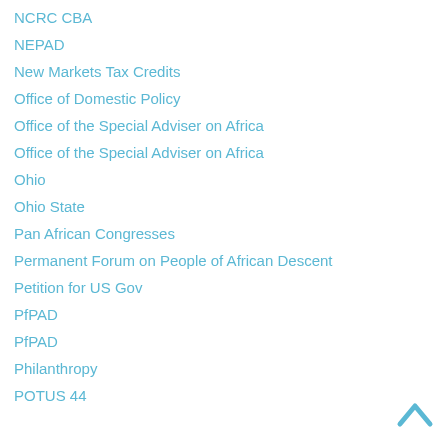NCRC CBA
NEPAD
New Markets Tax Credits
Office of Domestic Policy
Office of the Special Adviser on Africa
Office of the Special Adviser on Africa
Ohio
Ohio State
Pan African Congresses
Permanent Forum on People of African Descent
Petition for US Gov
PfPAD
PfPAD
Philanthropy
POTUS 44
[Figure (other): Back to top arrow icon (upward chevron in blue)]